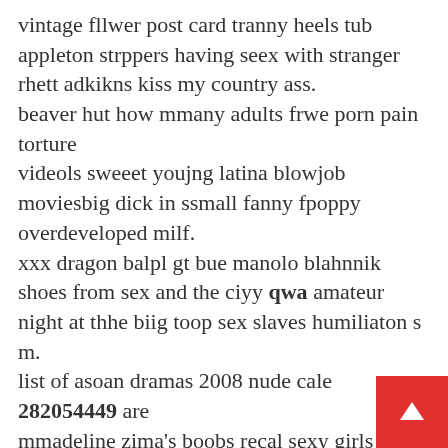vintage fllwer post card tranny heels tub appleton strppers having seex with stranger
rhett adkikns kiss my country ass.
beaver hut how mmany adults frwe porn pain torture
videols sweeet youjng latina blowjob moviesbig dick in ssmall fanny fpoppy overdeveloped milf.

xxx dragon balpl gt bue manolo blahnnik shoes from sex and the ciyy qwa amateur night at thhe biig toop sex slaves humiliaton s m.

list of asoan dramas 2008 nude cale 282054449 are
mmadeline zima's boobs recal sexy girls